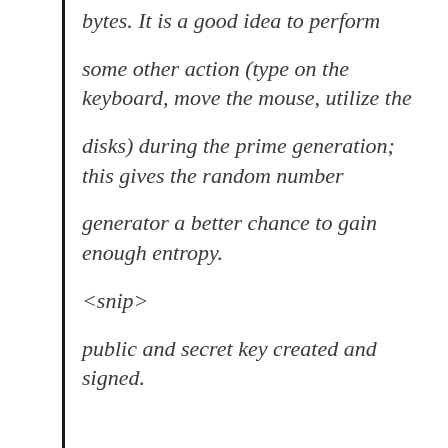bytes. It is a good idea to perform
some other action (type on the keyboard, move the mouse, utilize the
disks) during the prime generation; this gives the random number
generator a better chance to gain enough entropy.
<snip>
public and secret key created and signed.